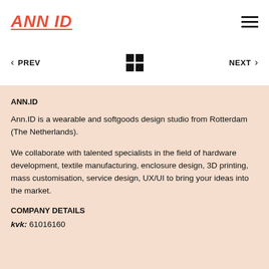ANN ID
ANN.ID
Ann.ID is a wearable and softgoods design studio from Rotterdam (The Netherlands).
We collaborate with talented specialists in the field of hardware development, textile manufacturing, enclosure design, 3D printing, mass customisation, service design, UX/UI to bring your ideas into the market.
COMPANY DETAILS
kvk: 61016160